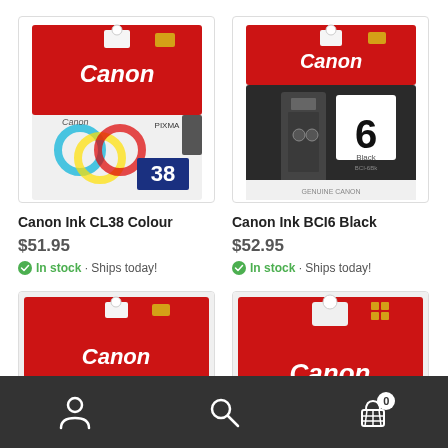[Figure (photo): Canon Ink CL38 Colour product image - red packaging with multicolor ink cartridges and number 38]
Canon Ink CL38 Colour
$51.95
In stock · Ships today!
[Figure (photo): Canon Ink BCI6 Black product image - black/red packaging with black ink cartridge and number 6]
Canon Ink BCI6 Black
$52.95
In stock · Ships today!
[Figure (photo): Partial Canon product image - red packaging, bottom cut off]
[Figure (photo): Partial Canon product image - red packaging with gold dots, Canon logo visible]
[Figure (screenshot): Bottom navigation bar with person/account icon, search icon, and cart icon showing 0 items]